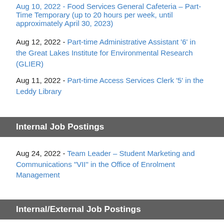Aug 10, 2022 - Food Services General Cafeteria – Part-Time Temporary (up to 20 hours per week, until approximately April 30, 2023)
Aug 12, 2022 - Part-time Administrative Assistant '6' in the Great Lakes Institute for Environmental Research (GLIER)
Aug 11, 2022 - Part-time Access Services Clerk '5' in the Leddy Library
Internal Job Postings
Aug 24, 2022 - Team Leader – Student Marketing and Communications "VII" in the Office of Enrolment Management
Internal/External Job Postings
Aug 24, 2022 - Assistant Women's Basketball Coach—